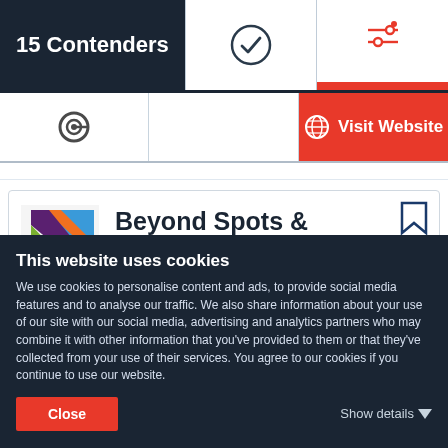15 Contenders
[Figure (screenshot): Navigation row with checkmark icon, filter icon with red bar, and a red Visit Website button with globe icon]
[Figure (logo): Beyond Spots & Dots logo: colorful diagonal stripes on a square background]
Beyond Spots & Dots
The advertising experts
$10,000+
$100 - $149 / hr
This website uses cookies
We use cookies to personalise content and ads, to provide social media features and to analyse our traffic. We also share information about your use of our site with our social media, advertising and analytics partners who may combine it with other information that you've provided to them or that they've collected from your use of their services. You agree to our cookies if you continue to use our website.
Close
Show details